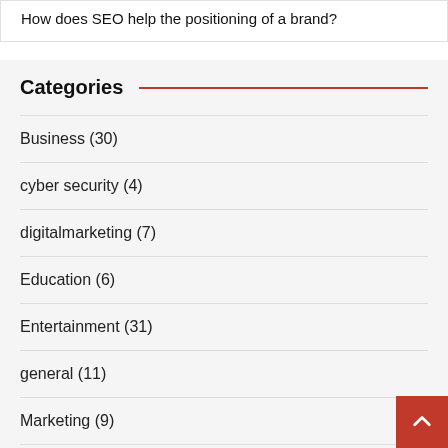How does SEO help the positioning of a brand?
Categories
Business (30)
cyber security (4)
digitalmarketing (7)
Education (6)
Entertainment (31)
general (11)
Marketing (9)